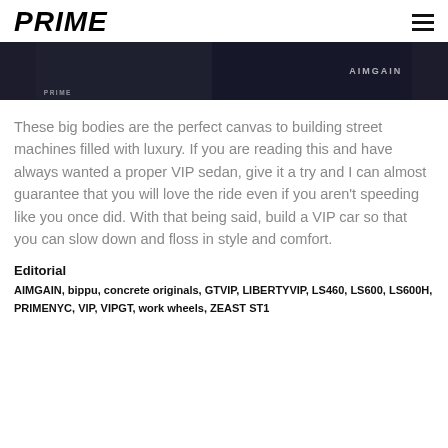PRIME
[Figure (photo): Cropped photo strip showing two dark-colored cars, one with lights visible on the left and one with AIMGAIN branding visible on the right, with PRIME watermarks]
These big bodies are the perfect canvas to building street machines filled with luxury. If you are reading this and have always wanted a proper VIP sedan, give it a try and I can almost guarantee that you will love the ride even if you aren't speeding like you once did. With that being said, build a VIP car so that you can slow down and floss in style and comfort.
Editorial
AIMGAIN, bippu, concrete originals, GTVIP, LIBERTYVIP, LS460, LS600, LS600H, PRIMENYC, VIP, VIPGT, work wheels, ZEAST ST1